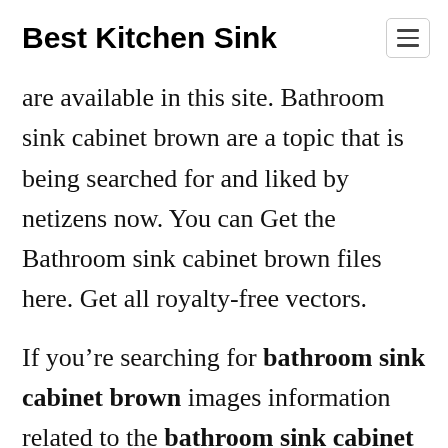Best Kitchen Sink
are available in this site. Bathroom sink cabinet brown are a topic that is being searched for and liked by netizens now. You can Get the Bathroom sink cabinet brown files here. Get all royalty-free vectors.
If you're searching for bathroom sink cabinet brown images information related to the bathroom sink cabinet brown topic, you have visit the right blog. Our website always provides y[CLOSE X]suggestions for